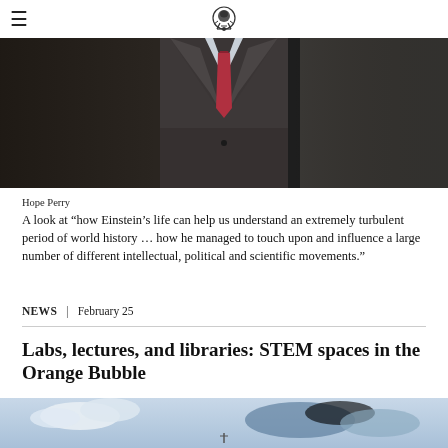[Newspaper logo]
[Figure (photo): Man in dark grey suit with red tie, photographed from chest up against dark background]
Hope Perry
A look at “how Einstein’s life can help us understand an extremely turbulent period of world history … how he managed to touch upon and influence a large number of different intellectual, political and scientific movements.”
NEWS | February 25
Labs, lectures, and libraries: STEM spaces in the Orange Bubble
[Figure (photo): Sky with clouds, partially visible at bottom of page]